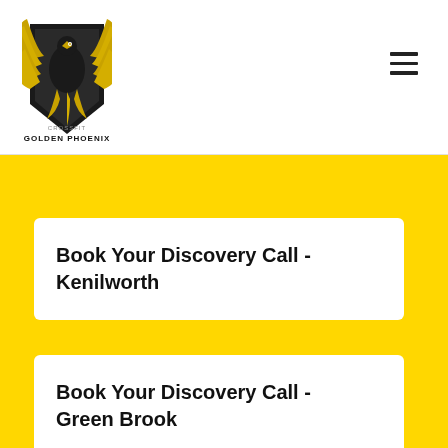Golden Phoenix CrossFit [logo] [navigation menu]
Book Your Discovery Call - Kenilworth
Book Your Discovery Call - Green Brook